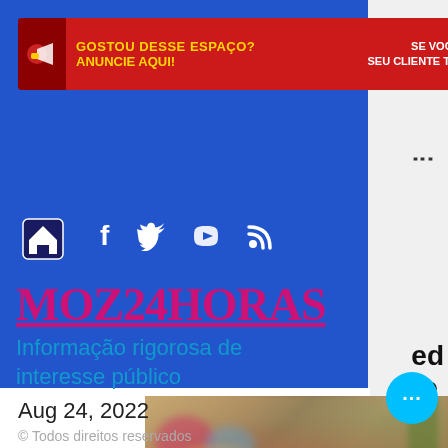[Figure (screenshot): Website screenshot of MOZ24HORAS news site with advertisement banner, navigation icons, logo, tagline, date, copyright, and a blurred news photo at bottom]
GOSTOU DESSE ESPAÇO? ANUNCIE AQUI! SE VOCÊ VIU, SEU CLIENTE TAMBÉM VERÁ!
MOZ24HORAS
Informação rigorosa de interesse público
Aug 24, 2022
© Todos direitos reservados